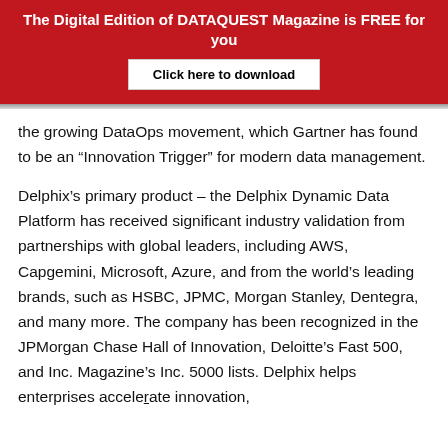The Digital Edition of DATAQUEST Magazine is FREE for you
Click here to download
the growing DataOps movement, which Gartner has found to be an “Innovation Trigger” for modern data management.
Delphix’s primary product – the Delphix Dynamic Data Platform has received significant industry validation from partnerships with global leaders, including AWS, Capgemini, Microsoft, Azure, and from the world’s leading brands, such as HSBC, JPMC, Morgan Stanley, Dentegra, and many more. The company has been recognized in the JPMorgan Chase Hall of Innovation, Deloitte’s Fast 500, and Inc. Magazine’s Inc. 5000 lists. Delphix helps enterprises accelerate innovation,